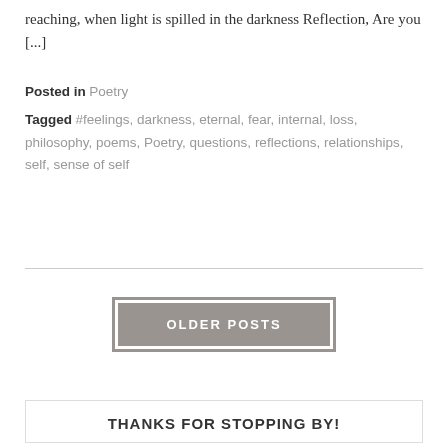reaching, when light is spilled in the darkness Reflection, Are you [...]
Posted in Poetry
Tagged #feelings, darkness, eternal, fear, internal, loss, philosophy, poems, Poetry, questions, reflections, relationships, self, sense of self
OLDER POSTS
THANKS FOR STOPPING BY!